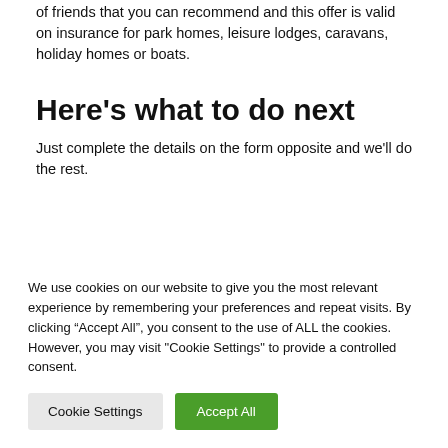of friends that you can recommend and this offer is valid on insurance for park homes, leisure lodges, caravans, holiday homes or boats.
Here's what to do next
Just complete the details on the form opposite and we'll do the rest.
We use cookies on our website to give you the most relevant experience by remembering your preferences and repeat visits. By clicking “Accept All”, you consent to the use of ALL the cookies. However, you may visit "Cookie Settings" to provide a controlled consent.